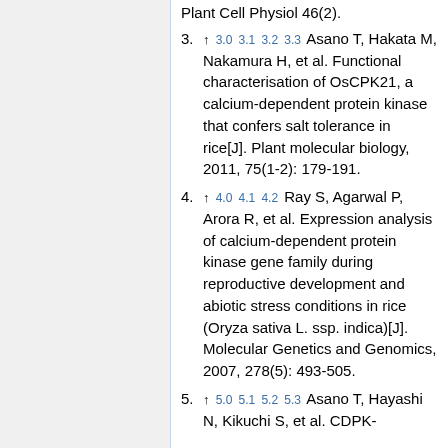Plant Cell Physiol 46(2).
3. ↑ 3.0 3.1 3.2 3.3 Asano T, Hakata M, Nakamura H, et al. Functional characterisation of OsCPK21, a calcium-dependent protein kinase that confers salt tolerance in rice[J]. Plant molecular biology, 2011, 75(1-2): 179-191.
4. ↑ 4.0 4.1 4.2 Ray S, Agarwal P, Arora R, et al. Expression analysis of calcium-dependent protein kinase gene family during reproductive development and abiotic stress conditions in rice (Oryza sativa L. ssp. indica)[J]. Molecular Genetics and Genomics, 2007, 278(5): 493-505.
5. ↑ 5.0 5.1 5.2 5.3 Asano T, Hayashi N, Kikuchi S, et al. CDPK-